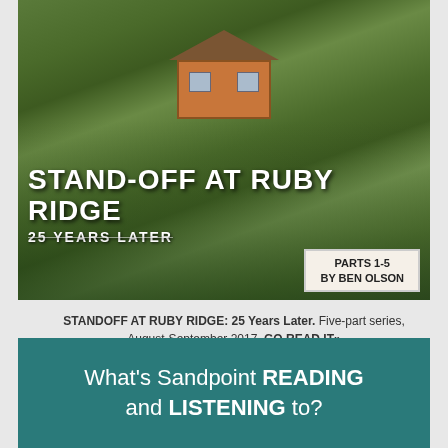[Figure (photo): Aerial photo of a cabin/house on a forested hillside with pine trees. Overlaid text reads 'STAND-OFF AT RUBY RIDGE' in large bold white uppercase letters, then '25 YEARS LATER' in smaller text below. A white badge box in the lower right reads 'PARTS 1-5 BY BEN OLSON'.]
STANDOFF AT RUBY RIDGE: 25 Years Later. Five-part series, August-September 2017. GO READ IT»
[Figure (infographic): Teal/dark cyan banner with white text reading "What's Sandpoint READING and LISTENING to?"]